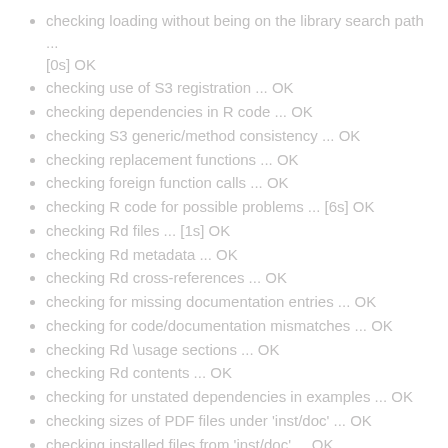checking loading without being on the library search path ... [0s] OK
checking use of S3 registration ... OK
checking dependencies in R code ... OK
checking S3 generic/method consistency ... OK
checking replacement functions ... OK
checking foreign function calls ... OK
checking R code for possible problems ... [6s] OK
checking Rd files ... [1s] OK
checking Rd metadata ... OK
checking Rd cross-references ... OK
checking for missing documentation entries ... OK
checking for code/documentation mismatches ... OK
checking Rd \usage sections ... OK
checking Rd contents ... OK
checking for unstated dependencies in examples ... OK
checking sizes of PDF files under 'inst/doc' ... OK
checking installed files from 'inst/doc' ... OK
checking examples ... [10s] OK
checking PDF version of manual ... [21s] OK
checking HTML version of manual ... [1s] OK
DONE
Status: OK